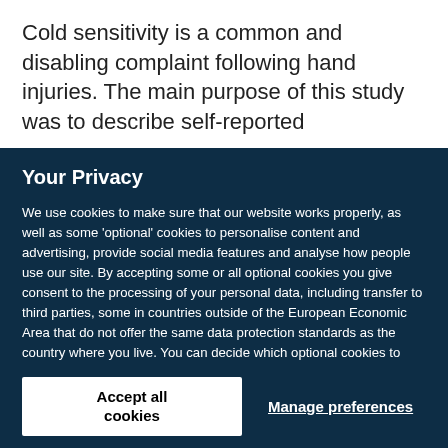Cold sensitivity is a common and disabling complaint following hand injuries. The main purpose of this study was to describe self-reported
Your Privacy
We use cookies to make sure that our website works properly, as well as some 'optional' cookies to personalise content and advertising, provide social media features and analyse how people use our site. By accepting some or all optional cookies you give consent to the processing of your personal data, including transfer to third parties, some in countries outside of the European Economic Area that do not offer the same data protection standards as the country where you live. You can decide which optional cookies to accept by clicking on 'Manage Settings', where you can also find more information about how your personal data is processed. Further information can be found in our privacy policy.
Accept all cookies
Manage preferences